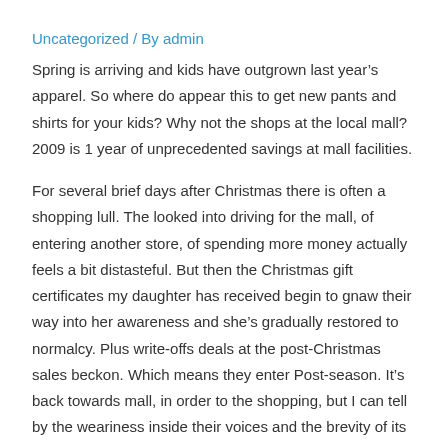Uncategorized / By admin
Spring is arriving and kids have outgrown last year's apparel. So where do appear this to get new pants and shirts for your kids? Why not the shops at the local mall? 2009 is 1 year of unprecedented savings at mall facilities.
For several brief days after Christmas there is often a shopping lull. The looked into driving for the mall, of entering another store, of spending more money actually feels a bit distasteful. But then the Christmas gift certificates my daughter has received begin to gnaw their way into her awareness and she’s gradually restored to normalcy. Plus write-offs deals at the post-Christmas sales beckon. Which means they enter Post-season. It’s back towards mall, in order to the shopping, but I can tell by the weariness inside their voices and the brevity of its shopping forays that their hearts are not in it the way they were in Regular Season.